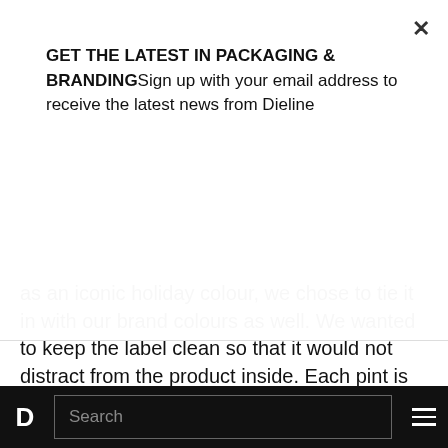GET THE LATEST IN PACKAGING & BRANDINGSign up with your email address to receive the latest news from Dieline
Subscribe
as an iconic holiday colour, we chose to tie it in with our brand colours as well. We wanted to keep the label clean so that it would not distract from the product inside. Each pint is also accompanied with a hand-tied gift tag making the delicious pints a perfect gift for anyone.
Of course the holiday season wouldn't be complete without the return of our Drinking Chocolate. Dark cocoa, brown sugar and salted
D  Search  ≡